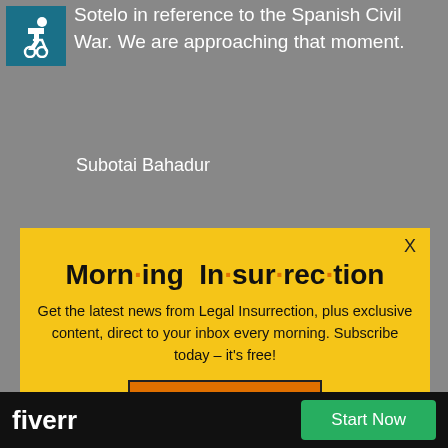[Figure (illustration): Wheelchair accessibility icon in teal/dark teal background]
Sotelo in reference to the Spanish Civil War. We are approaching that moment.
Subotai Bahadur
[Figure (infographic): Morning Insurrection newsletter popup modal with yellow background. Title: Morn·ing In·sur·rec·tion. Body: Get the latest news from Legal Insurrection, plus exclusive content, direct to your inbox every morning. Subscribe today – it's free! Button: JOIN NOW]
Someone should × these folks. It's a sinister tactic but time to fight fire with
[Figure (infographic): Fiverr advertisement bar with Start Now button]